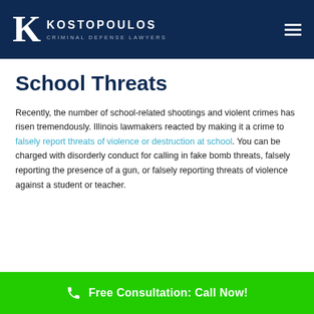KOSTOPOULOS CRIMINAL DEFENSE LAWYERS
School Threats
Recently, the number of school-related shootings and violent crimes has risen tremendously. Illinois lawmakers reacted by making it a crime to falsely report threats of violence or destruction at school. You can be charged with disorderly conduct for calling in fake bomb threats, falsely reporting the presence of a gun, or falsely reporting threats of violence against a student or teacher.
Free Consultation: Call Now!